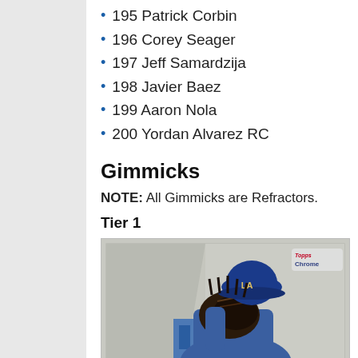195 Patrick Corbin
196 Corey Seager
197 Jeff Samardzija
198 Javier Baez
199 Aaron Nola
200 Yordan Alvarez RC
Gimmicks
NOTE: All Gimmicks are Refractors.
Tier 1
[Figure (photo): Topps Chrome baseball card showing a pitcher in a blue uniform and cap with 'LA' logo, holding a catcher's mitt up to his face in a pitching stance. Topps Chrome logo visible in top right corner of card.]